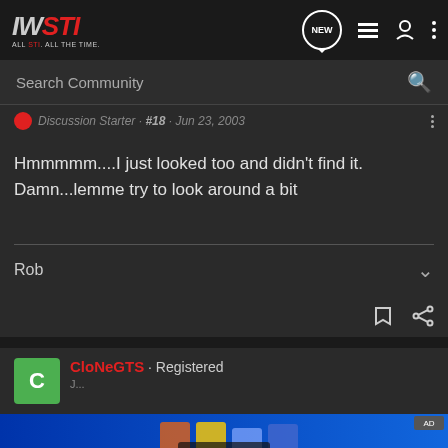IWSTI · ALL STI. ALL THE TIME.
Search Community
Discussion Starter · #18 · Jun 23, 2003
Hmmmmm....I just looked too and didn't find it. Damn...lemme try to look around a bit
Rob
CloNeGTS · Registered
[Figure (screenshot): Optima Batteries advertisement banner with blue background and battery products]
Discu...